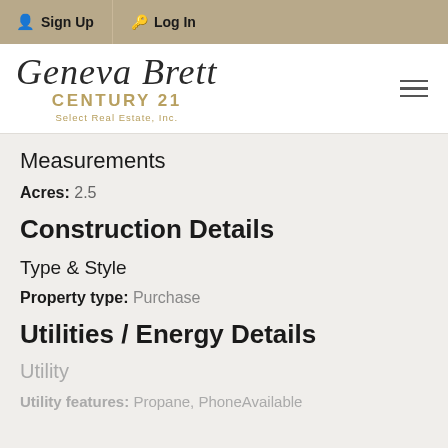Sign Up  Log In
[Figure (logo): Geneva Brett Century 21 Select Real Estate, Inc. logo with script text and hamburger menu icon]
Measurements
Acres:  2.5
Construction Details
Type & Style
Property type:  Purchase
Utilities / Energy Details
Utility
Utility features:  Propane, PhoneAvailable